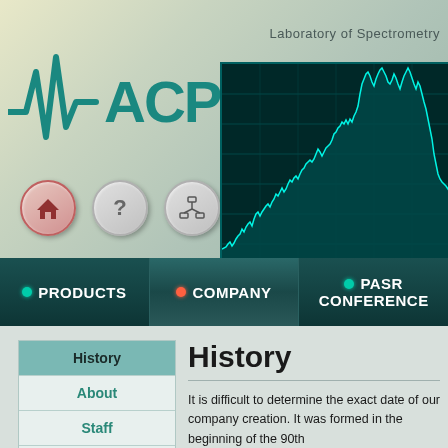Laboratory of Spectrometry
[Figure (logo): ACPM logo with stylized waveform and teal angular text]
[Figure (continuous-plot): Spectrometry chart with cyan spectral peaks on dark teal background]
PRODUCTS   COMPANY   PASR CONFERENCE
History
History
About
Staff
Partners
It is difficult to determine the exact date of our company creation. It was formed in the beginning of the 90th